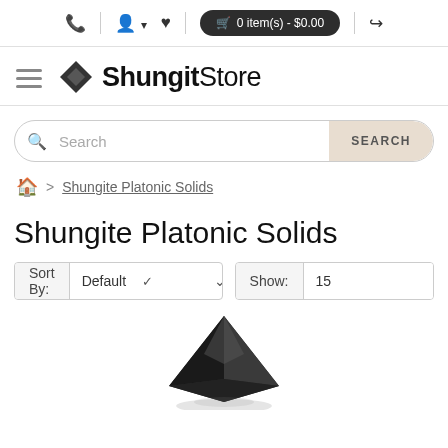☎ | 👤 ▾ | ♥ | 🛒 0 item(s) - $0.00 | ↪
[Figure (logo): ShungitStore logo with diamond icon and hamburger menu]
Search
⌂ > Shungite Platonic Solids
Shungite Platonic Solids
Sort By: Default ∨   Show: 15 ∨
[Figure (photo): Black shungite octahedron / pyramid shaped stone product photo, partially visible at bottom of page]